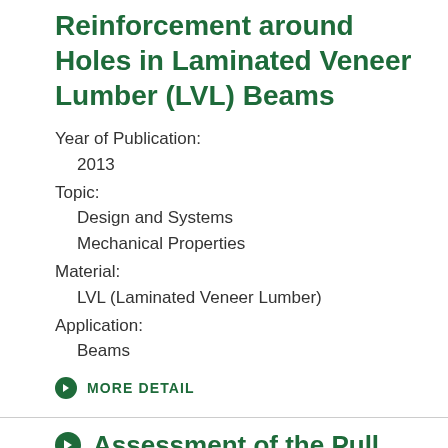Reinforcement around Holes in Laminated Veneer Lumber (LVL) Beams
Year of Publication:
2013
Topic:
Design and Systems
Mechanical Properties
Material:
LVL (Laminated Veneer Lumber)
Application:
Beams
MORE DETAIL
Assessment of the Pull Out